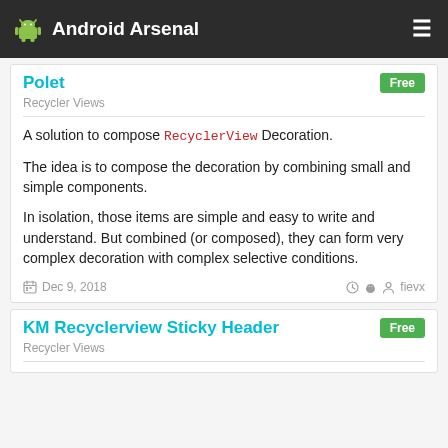Android Arsenal
Polet
Recycler Views
A solution to compose RecyclerView Decoration.

The idea is to compose the decoration by combining small and simple components.

In isolation, those items are simple and easy to write and understand. But combined (or composed), they can form very complex decoration with complex selective conditions.
Dec 9, 2018   fievx
KM Recyclerview Sticky Header
Recycler Views